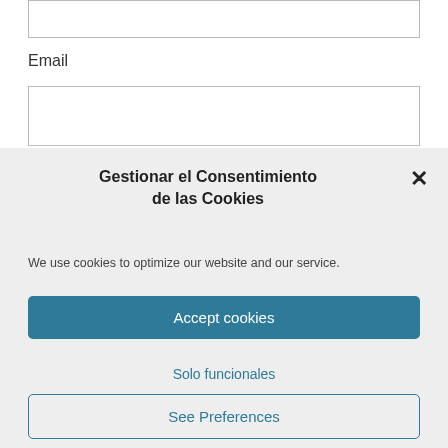Email
Gestionar el Consentimiento de las Cookies
We use cookies to optimize our website and our service.
Accept cookies
Solo funcionales
See Preferences